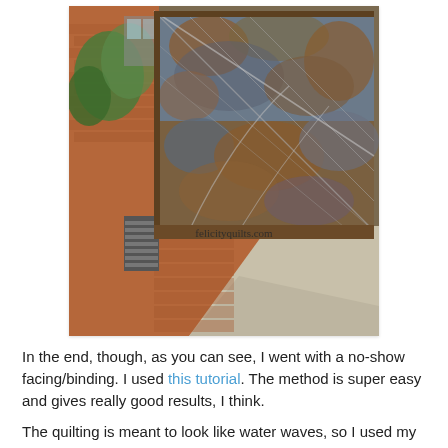[Figure (photo): A quilt with earth-tone batik fabric in blues, browns, and rusts displayed outdoors against a brick wall and walkway. The quilt shows diagonal quilting lines and a brown binding/facing. Text 'felicityquilts.com' is visible at the bottom of the quilt.]
In the end, though, as you can see, I went with a no-show facing/binding. I used this tutorial. The method is super easy and gives really good results, I think.
The quilting is meant to look like water waves, so I used my trusty Aurifil 40 wt in a lovely Aqua colour (#5006) and quilted